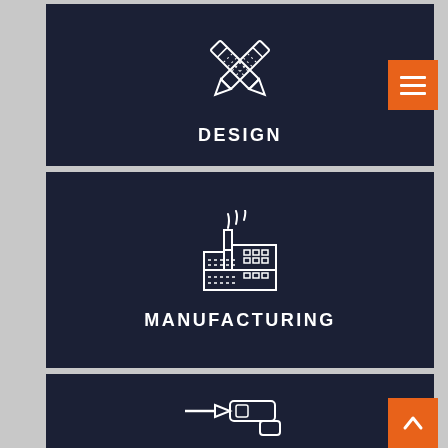[Figure (illustration): Dark navy card with white crossed pencil/ruler icon and bold white uppercase text DESIGN]
[Figure (illustration): Dark navy card with white factory/manufacturing building icon and bold white uppercase text MANUFACTURING]
[Figure (illustration): Dark navy card with white power drill icon, partially visible at bottom of page]